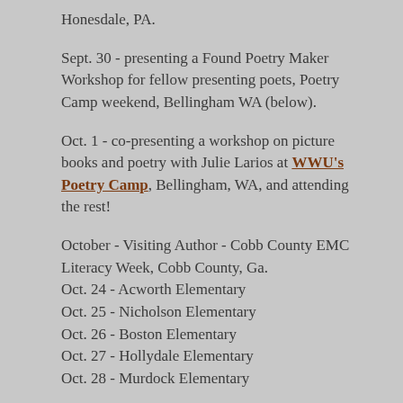Honesdale, PA.
Sept. 30 - presenting a Found Poetry Maker Workshop for fellow presenting poets, Poetry Camp weekend, Bellingham WA (below).
Oct. 1 - co-presenting a workshop on picture books and poetry with Julie Larios at WWU's Poetry Camp, Bellingham, WA, and attending the rest!
October - Visiting Author - Cobb County EMC Literacy Week, Cobb County, Ga.
Oct. 24 - Acworth Elementary
Oct. 25 - Nicholson Elementary
Oct. 26 - Boston Elementary
Oct. 27 - Hollydale Elementary
Oct. 28 - Murdock Elementary
2015 EVENTS